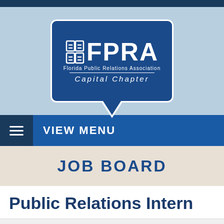[Figure (logo): FPRA Florida Public Relations Association Capital Chapter logo in a speech bubble shape on light blue background]
VIEW MENU
JOB BOARD
Public Relations Intern
Company: Florida Medical Association